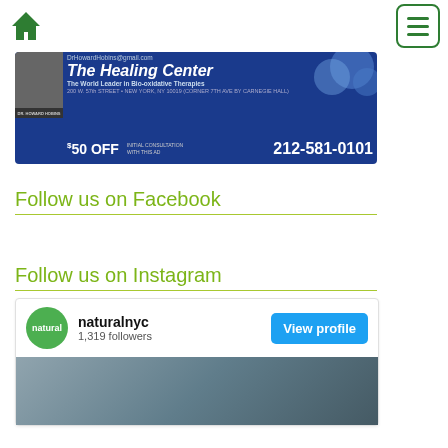Navigation bar with home icon and menu button
[Figure (infographic): Advertisement for The Healing Center. Email: DrHowardHobins@gmail.com. Title: The Healing Center. Subtitle: The World Leader in Bio-oxidative Therapies. Address: 200 W. 57th STREET • NEW YORK, NY 10019 (CORNER 7TH AVE BY CARNEGIE HALL). Offer: $50 OFF INITIAL CONSULTATION WITH THIS AD. Phone: 212-581-0101]
Follow us on Facebook
Follow us on Instagram
[Figure (screenshot): Instagram widget showing naturalnyc profile with 1,319 followers and a View profile button, with a partial photo below]